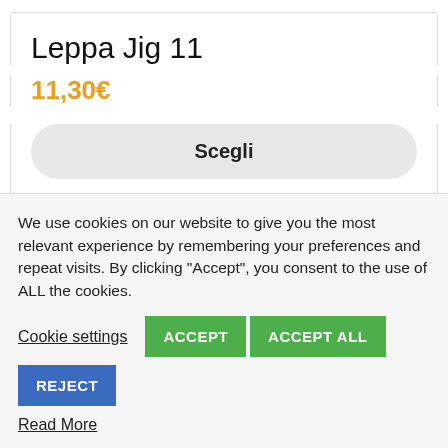Leppa Jig 11
11,30€
Scegli
We use cookies on our website to give you the most relevant experience by remembering your preferences and repeat visits. By clicking “Accept”, you consent to the use of ALL the cookies.
Cookie settings
ACCEPT
ACCEPT ALL
REJECT
Read More